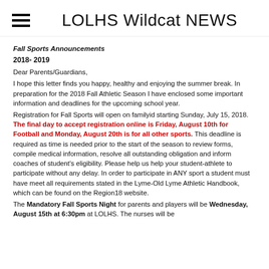LOLHS Wildcat NEWS
Fall Sports Announcements
2018- 2019
Dear Parents/Guardians,
I hope this letter finds you happy, healthy and enjoying the summer break. In preparation for the 2018 Fall Athletic Season I have enclosed some important information and deadlines for the upcoming school year.
Registration for Fall Sports will open on familyid starting Sunday, July 15, 2018. The final day to accept registration online is Friday, August 10th for Football and Monday, August 20th is for all other sports. This deadline is required as time is needed prior to the start of the season to review forms, compile medical information, resolve all outstanding obligation and inform coaches of student's eligibility. Please help us help your student-athlete to participate without any delay. In order to participate in ANY sport a student must have meet all requirements stated in the Lyme-Old Lyme Athletic Handbook, which can be found on the Region18 website.
The Mandatory Fall Sports Night for parents and players will be Wednesday, August 15th at 6:30pm at LOLHS. The nurses will be